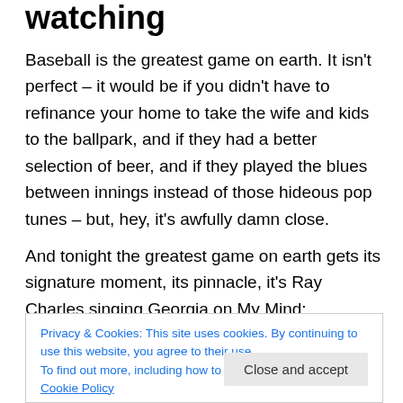watching
Baseball is the greatest game on earth. It isn't perfect – it would be if you didn't have to refinance your home to take the wife and kids to the ballpark, and if they had a better selection of beer, and if they played the blues between innings instead of those hideous pop tunes – but, hey, it's awfully damn close.
And tonight the greatest game on earth gets its signature moment, its pinnacle, it's Ray Charles singing Georgia on My Mind:
Privacy & Cookies: This site uses cookies. By continuing to use this website, you agree to their use.
To find out more, including how to control cookies, see here: Cookie Policy
game, winner take all. One guy gets to sip champagne